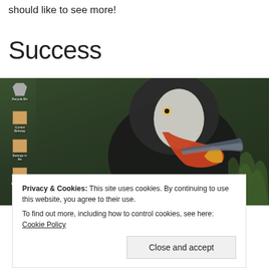should like to see more!
Success
[Figure (screenshot): A Windows desktop screenshot with folder icons on the left side overlaid with a close-up photo of a puffin bird holding fish in its beak against a blurred green background.]
Privacy & Cookies: This site uses cookies. By continuing to use this website, you agree to their use.
To find out more, including how to control cookies, see here: Cookie Policy
Close and accept